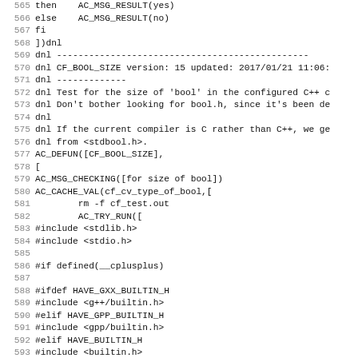Source code listing lines 565-597, autoconf macro file. Contains CF_BOOL_SIZE macro definition with AC_MSG_CHECKING, AC_CACHE_VAL, AC_TRY_RUN, conditional includes for stdbool.h, g++/builtin.h, gpp/builtin.h, builtin.h.